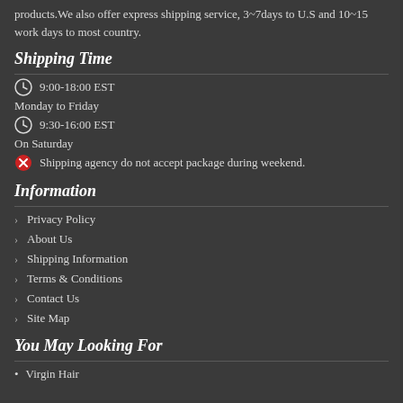products.We also offer express shipping service, 3~7days to U.S and 10~15 work days to most country.
Shipping Time
9:00-18:00 EST
Monday to Friday
9:30-16:00 EST
On Saturday
Shipping agency do not accept package during weekend.
Information
Privacy Policy
About Us
Shipping Information
Terms & Conditions
Contact Us
Site Map
You May Looking For
Virgin Hair